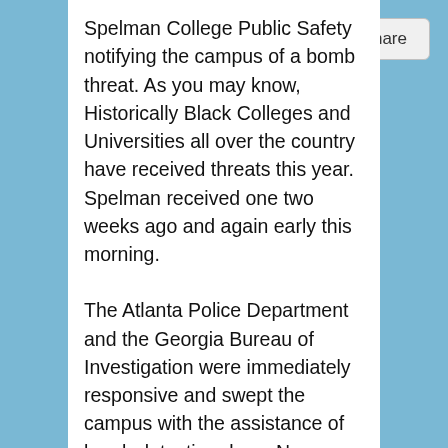Share
Spelman College Public Safety notifying the campus of a bomb threat. As you may know, Historically Black Colleges and Universities all over the country have received threats this year. Spelman received one two weeks ago and again early this morning.
The Atlanta Police Department and the Georgia Bureau of Investigation were immediately responsive and swept the campus with the assistance of bomb detection dogs. No devices were detected.
These threats are despicable. They are designed to make us feel fearful and vulnerable. I write now to let you know what additional steps the College is taking to ensure the safety of the Spelman community.